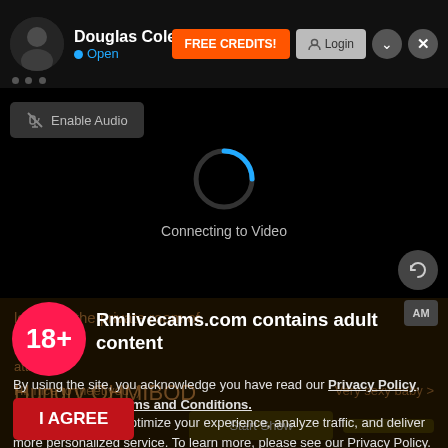Douglas Coleman · Open
[Figure (screenshot): Live cam website UI with profile header showing Douglas Coleman, Open status, FREE CREDITS button, Login button, Enable Audio button, video loading spinner with Connecting to Video text, and age verification/consent overlay for Rmlivecams.com]
Rmlivecams.com contains adult content
By using the site, you acknowledge you have read our Privacy Policy, and agree to our Terms and Conditions.
We use cookies to optimize your experience, analyze traffic, and deliver more personalized service. To learn more, please see our Privacy Policy.
I AGREE